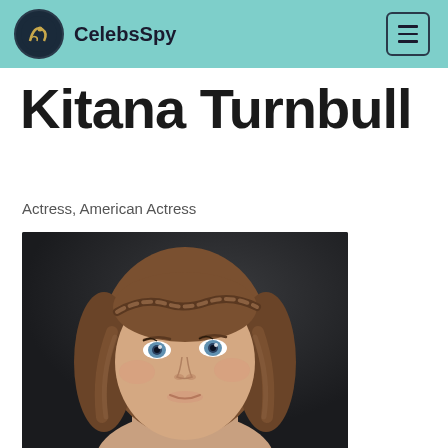CelebsSpy
Kitana Turnbull
Actress, American Actress
[Figure (photo): Headshot photo of Kitana Turnbull, a young woman with light brown hair partially pulled back in a braid, blue eyes, against a dark background]